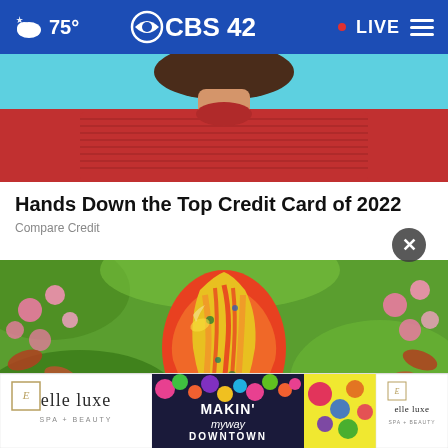75° CBS42 • LIVE
[Figure (photo): Woman wearing a red ribbed turtleneck sweater against a teal background, photo cropped to show neck and upper torso]
Hands Down the Top Credit Card of 2022
Compare Credit
[Figure (photo): Colorful decorative glass Easter egg with swirling red, orange, yellow and green patterns, surrounded by pink blossoms and green foliage]
[Figure (photo): Advertisement banner for elle luxe spa and beauty featuring Makin' My Way Downtown event with colorful psychedelic design]
elle luxe  MAKIN' myway DOWNTOWN  elle luxe